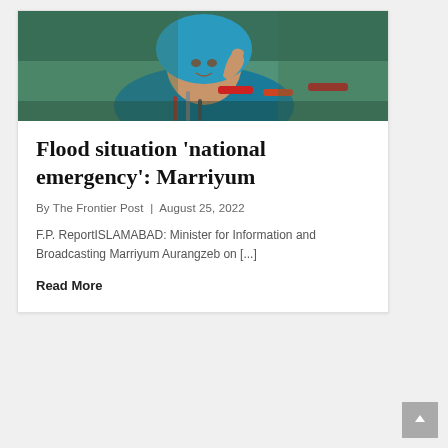[Figure (photo): Woman in blue headscarf speaking at a press conference with microphones in front of her, gesturing with one hand raised]
Flood situation 'national emergency': Marriyum
By The Frontier Post  |  August 25, 2022
F.P. ReportISLAMABAD: Minister for Information and Broadcasting Marriyum Aurangzeb on [...]
Read More